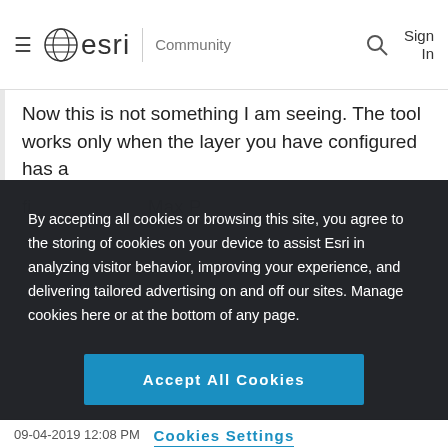esri | Community
Now this is not something I am seeing. The tool works only when the layer you have configured has a fi...
By accepting all cookies or browsing this site, you agree to the storing of cookies on your device to assist Esri in analyzing visitor behavior, improving your experience, and delivering tailored advertising on and off our sites. Manage cookies here or at the bottom of any page.
Accept All Cookies
Cookies Settings
09-04-2019 12:08 PM